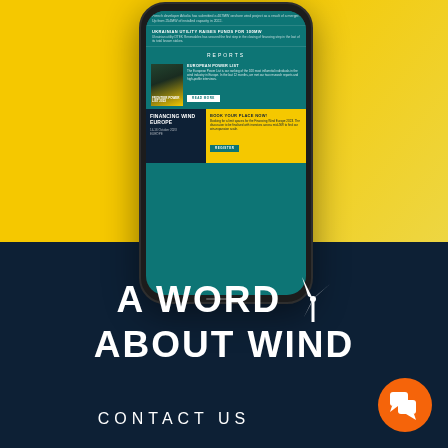[Figure (screenshot): Smartphone displaying the A Word About Wind website/app, showing news articles, a Reports section with European Power List, and Financing Wind Europe event card, on a yellow background]
[Figure (logo): A Word About Wind logo in white text with wind turbine icon, on dark navy background]
CONTACT US